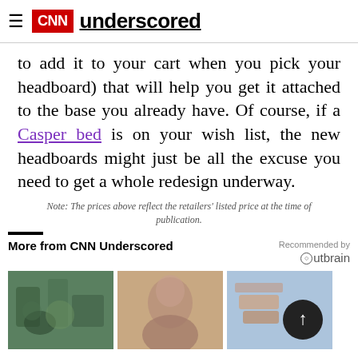CNN underscored
to add it to your cart when you pick your headboard) that will help you get it attached to the base you already have. Of course, if a Casper bed is on your wish list, the new headboards might just be all the excuse you need to get a whole redesign underway.
Note: The prices above reflect the retailers' listed price at the time of publication.
More from CNN Underscored
Recommended by Outbrain
[Figure (photo): Three thumbnail images: woman gardening with plants, woman posing, sandals on patterned fabric]